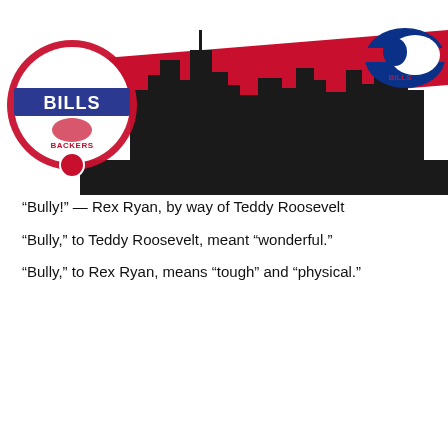[Figure (illustration): New York City Buffalo Bills Backers logo on left with buffalo and shield emblem, city skyline silhouette in black center with a red diagonal stripe and blue Buffalo Bills logo on right]
New York City Buffalo Bills Backers
Columns
This Week from NYCBBB – 09/13/2015
September 14, 2015   Phil Mann
“Bully!” — Rex Ryan, by way of Teddy Roosevelt
“Bully,” to Teddy Roosevelt, meant “wonderful.”
“Bully,” to Rex Ryan, means “tough” and “physical.”